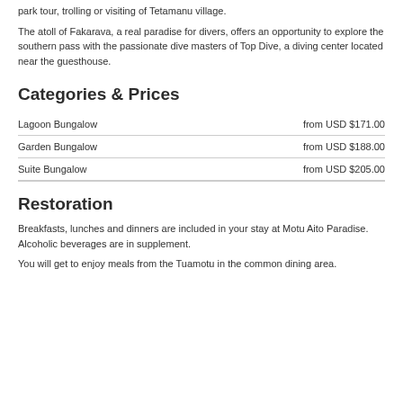park tour, trolling or visiting of Tetamanu village.
The atoll of Fakarava, a real paradise for divers, offers an opportunity to explore the southern pass with the passionate dive masters of Top Dive, a diving center located near the guesthouse.
Categories & Prices
|  |  |
| --- | --- |
| Lagoon Bungalow | from USD $171.00 |
| Garden Bungalow | from USD $188.00 |
| Suite Bungalow | from USD $205.00 |
Restoration
Breakfasts, lunches and dinners are included in your stay at Motu Aito Paradise. Alcoholic beverages are in supplement.
You will get to enjoy meals from the Tuamotu in the common dining area.